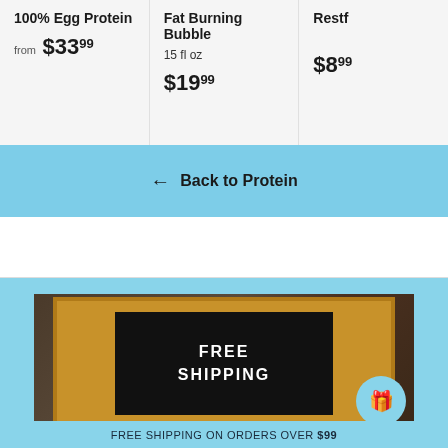100% Egg Protein
from $33.99
Fat Burning Bubble
15 fl oz
$19.99
Restf...
$8.99
← Back to Protein
[Figure (photo): Letter board on wood background showing FREE SHIPPING text, with a gift icon circle overlay]
FREE SHIPPING ON ORDERS OVER $99